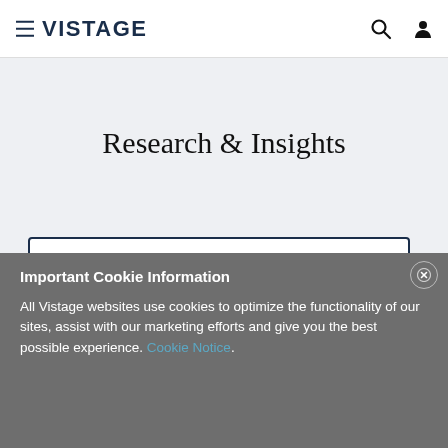VISTAGE
Research & Insights
Important Cookie Information
All Vistage websites use cookies to optimize the functionality of our sites, assist with our marketing efforts and give you the best possible experience. Cookie Notice.